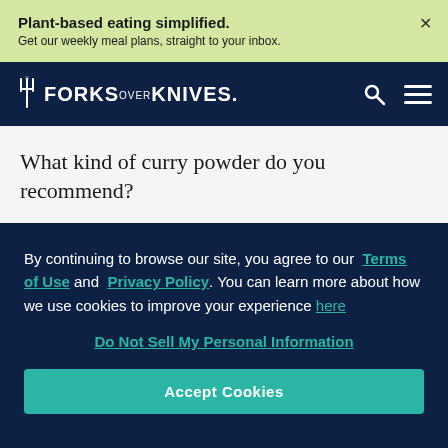Plant-based eating simplified. Get our weekly meal plans, straight to your inbox.
[Figure (logo): Forks Over Knives logo with fork icon and bold text]
What kind of curry powder do you recommend?
By continuing to browse our site, you agree to our Terms of Use and Privacy Policy. You can learn more about how we use cookies to improve your experience here
Do Not Sell My Personal Information
Accept Cookies